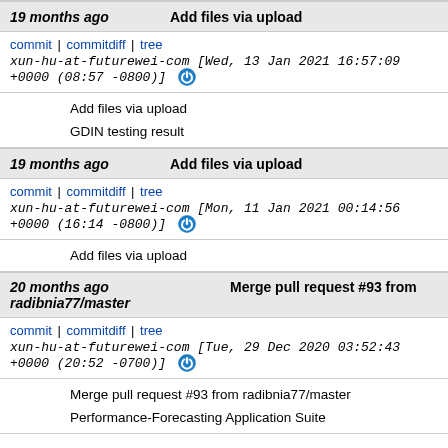19 months ago | Add files via upload
commit | commitdiff | tree   xun-hu-at-futurewei-com [Wed, 13 Jan 2021 16:57:09 +0000 (08:57 -0800)]
Add files via upload

GDIN testing result
19 months ago | Add files via upload
commit | commitdiff | tree   xun-hu-at-futurewei-com [Mon, 11 Jan 2021 00:14:56 +0000 (16:14 -0800)]
Add files via upload
20 months ago radibnia77/master | Merge pull request #93 from radibnia77/master
commit | commitdiff | tree   xun-hu-at-futurewei-com [Tue, 29 Dec 2020 03:52:43 +0000 (20:52 -0700)]
Merge pull request #93 from radibnia77/master

Performance-Forecasting Application Suite